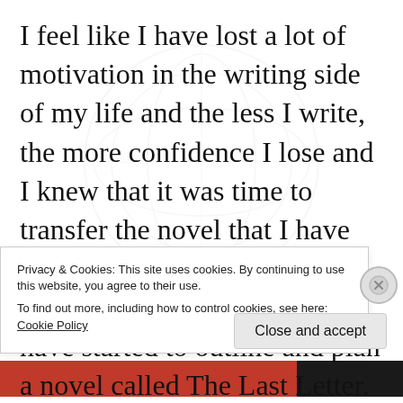I feel like I have lost a lot of motivation in the writing side of my life and the less I write, the more confidence I lose and I knew that it was time to transfer the novel that I have been planning for months in my head, down on paper. I have started to outline and plan a novel called The Last Letter. I have it planned up to chapter twelve and I am going to spend the last few days of June planning the rest to
Privacy & Cookies: This site uses cookies. By continuing to use this website, you agree to their use.
To find out more, including how to control cookies, see here: Cookie Policy
Close and accept